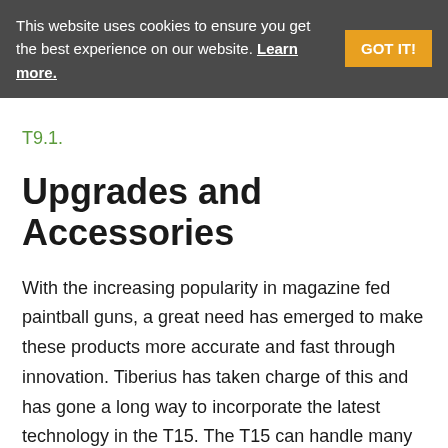This website uses cookies to ensure you get the best experience on our website. Learn more. GOT IT!
T9.1.
Upgrades and Accessories
With the increasing popularity in magazine fed paintball guns, a great need has emerged to make these products more accurate and fast through innovation. Tiberius has taken charge of this and has gone a long way to incorporate the latest technology in the T15. The T15 can handle many accessories such as different types of optics to help you maneuver through a sizzling MilSim experience.